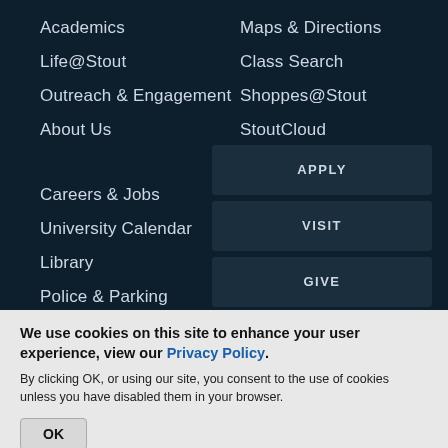Academics
Life@Stout
Outreach & Engagement
About Us
Maps & Directions
Class Search
Shoppes@Stout
StoutCloud
Careers & Jobs
University Calendar
Library
Police & Parking
Clery Report
APPLY
VISIT
GIVE
LOGINS
We use cookies on this site to enhance your user experience, view our Privacy Policy.
By clicking OK, or using our site, you consent to the use of cookies unless you have disabled them in your browser.
OK